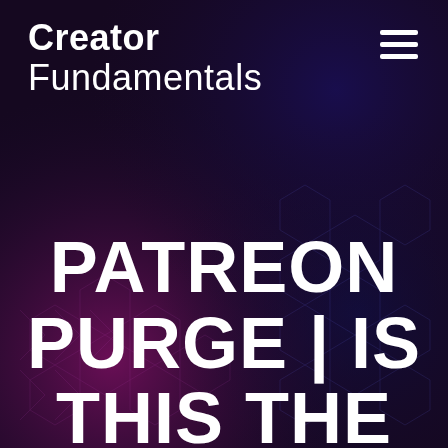Creator Fundamentals
PATREON PURGE | IS THIS THE END OF PATREON?